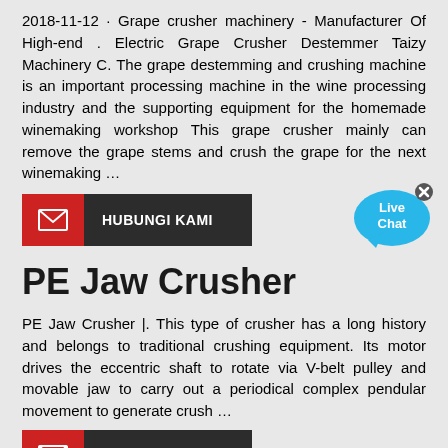2018-11-12 · Grape crusher machinery - Manufacturer Of High-end . Electric Grape Crusher Destemmer Taizy Machinery C. The grape destemming and crushing machine is an important processing machine in the wine processing industry and the supporting equipment for the homemade winemaking workshop This grape crusher mainly can remove the grape stems and crush the grape for the next winemaking …
[Figure (other): Live Chat bubble icon with close button]
HUBUNGI KAMI (button with envelope icon)
PE Jaw Crusher
PE Jaw Crusher |. This type of crusher has a long history and belongs to traditional crushing equipment. Its motor drives the eccentric shaft to rotate via V-belt pulley and movable jaw to carry out a periodical complex pendular movement to generate crush …
HUBUNGI KAMI (button with envelope icon)